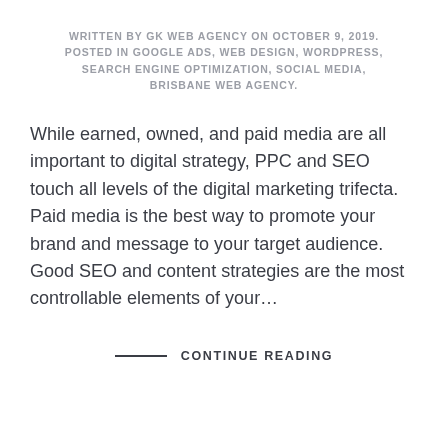WRITTEN BY GK WEB AGENCY ON OCTOBER 9, 2019. POSTED IN GOOGLE ADS, WEB DESIGN, WORDPRESS, SEARCH ENGINE OPTIMIZATION, SOCIAL MEDIA, BRISBANE WEB AGENCY.
While earned, owned, and paid media are all important to digital strategy, PPC and SEO touch all levels of the digital marketing trifecta. Paid media is the best way to promote your brand and message to your target audience. Good SEO and content strategies are the most controllable elements of your…
— CONTINUE READING